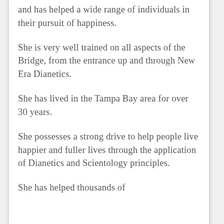and has helped a wide range of individuals in their pursuit of happiness.
She is very well trained on all aspects of the Bridge, from the entrance up and through New Era Dianetics.
She has lived in the Tampa Bay area for over 30 years.
She possesses a strong drive to help people live happier and fuller lives through the application of Dianetics and Scientology principles.
She has helped thousands of